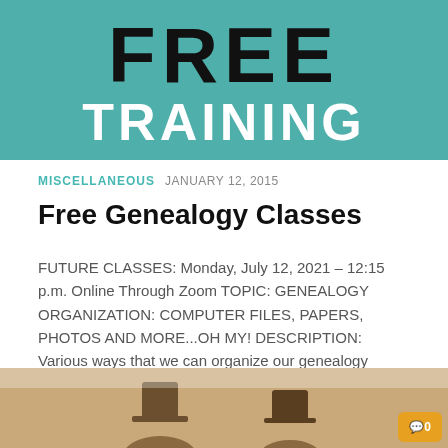[Figure (illustration): Banner with teal/turquoise background showing 'FREE TRAINING' text in large black and white bold letters]
MISCELLANEOUS  JANUARY 12, 2015
Free Genealogy Classes
FUTURE CLASSES: Monday, July 12, 2021 – 12:15 p.m. Online Through Zoom TOPIC: GENEALOGY ORGANIZATION: COMPUTER FILES, PAPERS, PHOTOS AND MORE...OH MY! DESCRIPTION: Various ways that we can organize our genealogy research records, papers,...
[Figure (photo): Old sepia-toned photograph of two figures wearing top hats, partially visible at bottom of page. A gold/orange comment badge shows '0' in bottom right corner.]